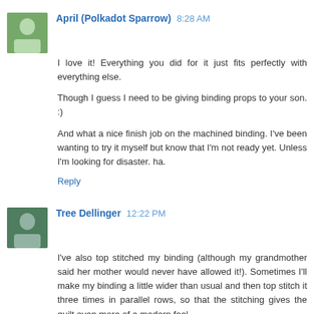April (Polkadot Sparrow) 8:28 AM
I love it! Everything you did for it just fits perfectly with everything else.

Though I guess I need to be giving binding props to your son. :)

And what a nice finish job on the machined binding. I've been wanting to try it myself but know that I'm not ready yet. Unless I'm looking for disaster. ha.
Reply
Tree Dellinger 12:22 PM
I've also top stitched my binding (although my grandmother said her mother would never have allowed it!). Sometimes I'll make my binding a little wider than usual and then top stitch it three times in parallel rows, so that the stitching gives the quilt even more of a modern feel.
Reply